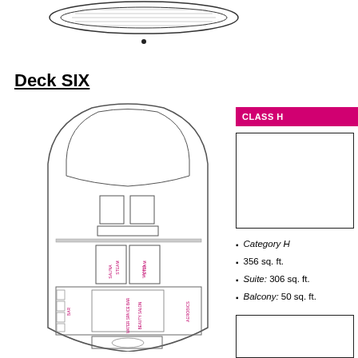[Figure (engineering-diagram): Top-view ship deck diagram, partially cropped at top of page]
Deck SIX
[Figure (engineering-diagram): Ship deck plan for Deck Six showing spa areas including steam sauna, steam vanya, aerobics, water spa, ice bar, beauty salon, and pool areas]
CLASS H
[Figure (photo): Room/cabin photo placeholder for Category H suite]
Category H
356 sq. ft.
Suite: 306 sq. ft.
Balcony: 50 sq. ft.
[Figure (photo): Second room/cabin photo placeholder]